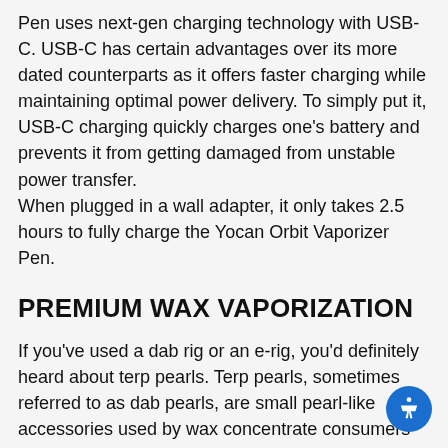Pen uses next-gen charging technology with USB-C. USB-C has certain advantages over its more dated counterparts as it offers faster charging while maintaining optimal power delivery. To simply put it, USB-C charging quickly charges one's battery and prevents it from getting damaged from unstable power transfer. When plugged in a wall adapter, it only takes 2.5 hours to fully charge the Yocan Orbit Vaporizer Pen.
PREMIUM WAX VAPORIZATION
If you've used a dab rig or an e-rig, you'd definitely heard about terp pearls. Terp pearls, sometimes referred to as dab pearls, are small pearl-like accessories used by wax concentrate consumers to improve the performance of their devices and help them achieve optimum temperature levels when dabbing.